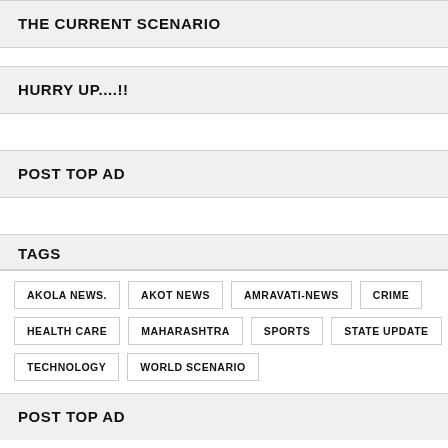THE CURRENT SCENARIO
HURRY UP....!!
POST TOP AD
TAGS
AKOLA NEWS.
AKOT NEWS
AMRAVATI-NEWS
CRIME
HEALTH CARE
MAHARASHTRA
SPORTS
STATE UPDATE
TECHNOLOGY
WORLD SCENARIO
POST TOP AD